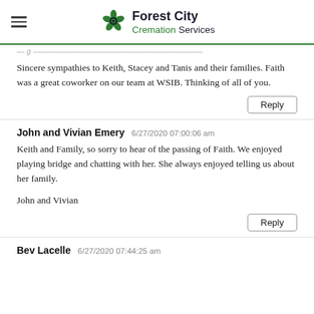Forest City Cremation Services
Sincere sympathies to Keith, Stacey and Tanis and their families. Faith was a great coworker on our team at WSIB. Thinking of all of you.
Reply
John and Vivian Emery   6/27/2020 07:00:06 am
Keith and Family, so sorry to hear of the passing of Faith. We enjoyed playing bridge and chatting with her. She always enjoyed telling us about her family.

John and Vivian
Reply
Bev Lacelle   6/27/2020 07:44:25 am